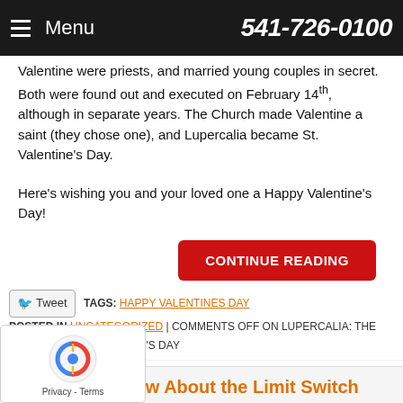Menu   541-726-0100
Valentine were priests, and married young couples in secret. Both were found out and executed on February 14th, although in separate years. The Church made Valentine a saint (they chose one), and Lupercalia became St. Valentine’s Day.
Here’s wishing you and your loved one a Happy Valentine’s Day!
CONTINUE READING
Tweet   TAGS: HAPPY VALENTINES DAY
POSTED IN UNCATEGORIZED | COMMENTS OFF ON LUPERCALIA: THE ORIGIN OF ST. VALENTINE’S DAY
ou Need to Know About the Limit Switch
Thursday, February 5th, 2015